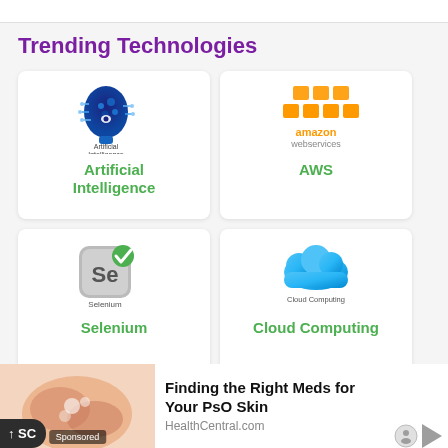Trending Technologies
[Figure (logo): Artificial Intelligence logo with brain icon]
Artificial Intelligence
[Figure (logo): Amazon Web Services (AWS) logo with orange cubes]
AWS
[Figure (logo): Selenium logo with Se icon and green checkmark]
Selenium
[Figure (logo): Cloud Computing logo with blue cloud]
Cloud Computing
[Figure (logo): Partial card with small icon visible]
ReactJS
[Figure (photo): Sponsored ad: person applying medication, Finding the Right Meds for Your PsO Skin, HealthCentral.com]